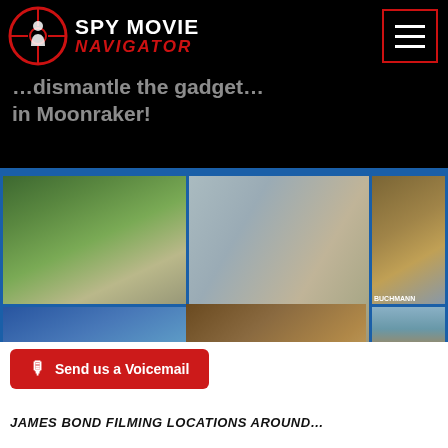[Figure (logo): Spy Movie Navigator logo with crosshair/target graphic and red circle, silhouette of person]
SPY MOVIE NAVIGATOR
…dismantle the gadget… in Moonraker!
[Figure (photo): Grid of 7 location photos including a road through trees, a village street, a commercial building (Buchmann), a cliff face, a coastal lake view, an ornate hall interior, and a rocky mountain landscape]
🎙 Send us a Voicemail
JAMES BOND FILMING LOCATIONS AROUND…